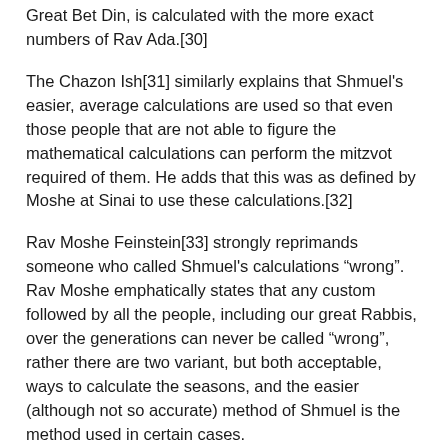Great Bet Din, is calculated with the more exact numbers of Rav Ada.[30]
The Chazon Ish[31] similarly explains that Shmuel's easier, average calculations are used so that even those people that are not able to figure the mathematical calculations can perform the mitzvot required of them. He adds that this was as defined by Moshe at Sinai to use these calculations.[32]
Rav Moshe Feinstein[33] strongly reprimands someone who called Shmuel's calculations “wrong”. Rav Moshe emphatically states that any custom followed by all the people, including our great Rabbis, over the generations can never be called “wrong”, rather there are two variant, but both acceptable, ways to calculate the seasons, and the easier (although not so accurate) method of Shmuel is the method used in certain cases.
The Rule of Shabtai - Saturn
In the Gemara in Brachot,[34] Abaya defines Hachama Betkufata, the sun at its season: